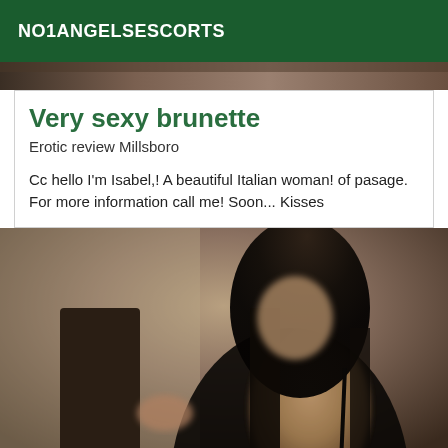NO1ANGELSESCORTS
[Figure (photo): Top strip photo of a person, partially visible]
Very sexy brunette
Erotic review Millsboro
Cc hello I'm Isabel,! A beautiful Italian woman! of pasage. For more information call me! Soon... Kisses
[Figure (photo): Photo of a woman with long dark hair wearing a black outfit, standing in a room, face blurred]